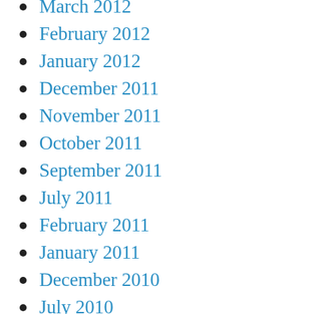March 2012
February 2012
January 2012
December 2011
November 2011
October 2011
September 2011
July 2011
February 2011
January 2011
December 2010
July 2010
June 2010
May 2010
March 2010
February 2010
January 2010